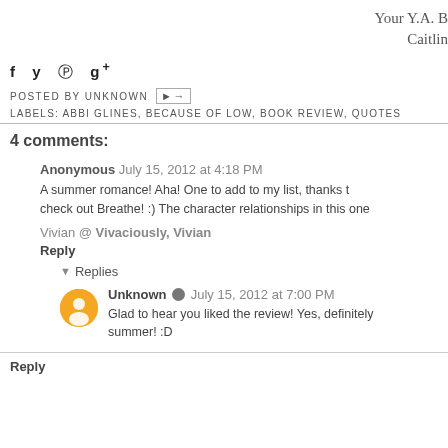Your Y.A. B
Caitlin
POSTED BY UNKNOWN
LABELS: ABBI GLINES, BECAUSE OF LOW, BOOK REVIEW, QUOTES
4 comments:
Anonymous July 15, 2012 at 4:18 PM
A summer romance! Aha! One to add to my list, thanks t... check out Breathe! :) The character relationships in this one...
Vivian @ Vivaciously, Vivian
Reply
Replies
Unknown July 15, 2012 at 7:00 PM
Glad to hear you liked the review! Yes, definitely... summer! :D
Reply